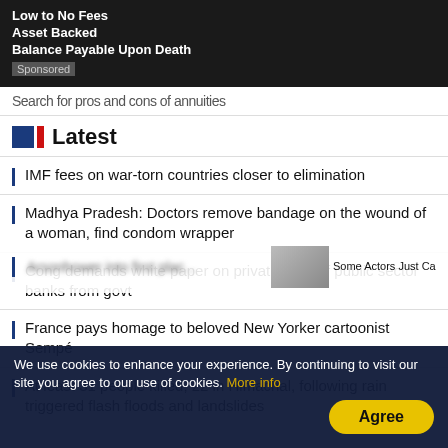[Figure (screenshot): Dark advertisement banner showing text: Low to No Fees, Asset Backed, Balance Payable Upon Death, Sponsored label]
Search for pros and cons of annuities
Latest
IMF fees on war-torn countries closer to elimination
Madhya Pradesh: Doctors remove bandage on the wound of a woman, find condom wrapper
Cong demands white paper on privatisation of public sector banks from govt
France pays homage to beloved New Yorker cartoonist Sempé
At least 31 people killed, 22 in Himachal, following rain triggered flash floods and landslides
Some Actors Just Ca...
We use cookies to enhance your experience. By continuing to visit our site you agree to our use of cookies. More info
Agree